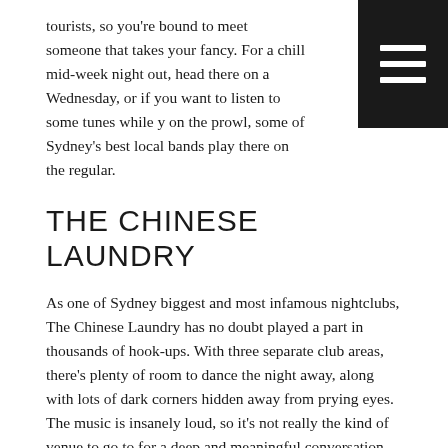tourists, so you're bound to meet someone that takes your fancy. For a chill mid-week night out, head there on a Wednesday, or if you want to listen to some tunes while you're on the prowl, some of Sydney's best local bands play there on the regular.
THE CHINESE LAUNDRY
As one of Sydney biggest and most infamous nightclubs, The Chinese Laundry has no doubt played a part in thousands of hook-ups. With three separate club areas, there's plenty of room to dance the night away, along with lots of dark corners hidden away from prying eyes. The music is insanely loud, so it's not really the kind of venue to go to for a deep and meaningful conversation. However, if you'd rather skip the getting-to-know-you side of things, the Chinese Laundry is the perfect place to kick off a one-night stand.
THE GOLDEN SHEAF HOTEL
The Golden Sheaf Hotel is a playground for the wealthy. Known for its opulent décor and live jazz music, Sydneysiders refers to this venue simply as The Sheaf. It can be found in the